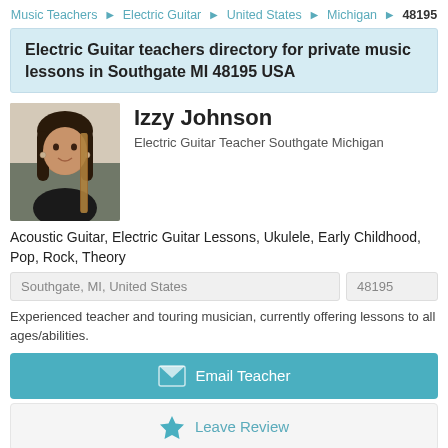Music Teachers ▶ Electric Guitar ▶ United States ▶ Michigan ▶ 48195
Electric Guitar teachers directory for private music lessons in Southgate MI 48195 USA
[Figure (photo): Portrait photo of Izzy Johnson, a young woman with long dark hair holding a guitar]
Izzy Johnson
Electric Guitar Teacher Southgate Michigan
Acoustic Guitar, Electric Guitar Lessons, Ukulele, Early Childhood, Pop, Rock, Theory
| Southgate, MI, United States | 48195 |
Experienced teacher and touring musician, currently offering lessons to all ages/abilities.
Email Teacher
Leave Review